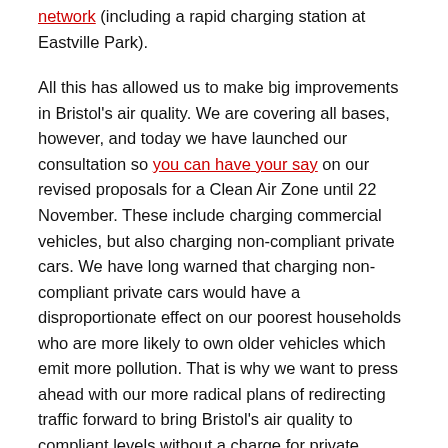network (including a rapid charging station at Eastville Park).
All this has allowed us to make big improvements in Bristol's air quality. We are covering all bases, however, and today we have launched our consultation so you can have your say on our revised proposals for a Clean Air Zone until 22 November. These include charging commercial vehicles, but also charging non-compliant private cars. We have long warned that charging non-compliant private cars would have a disproportionate effect on our poorest households who are more likely to own older vehicles which emit more pollution. That is why we want to press ahead with our more radical plans of redirecting traffic forward to bring Bristol's air quality to compliant levels without a charge for private vehicles.
However, I want to stress that the retention of the benefits we saw during lockdown and the delivery of cleaner air in Bristol won't come through the stroke of a pen in Whitehall, or solely from the efforts of the City Council.